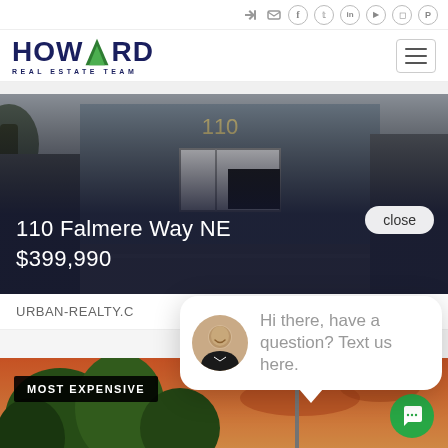Social media icons: login, email, facebook, twitter, linkedin, youtube, instagram, pinterest
[Figure (logo): Howard Real Estate Team logo with green triangle replacing the A]
[Figure (screenshot): Photo of a building exterior at 110 Falmere Way NE with snow/winter conditions]
110 Falmere Way NE
$399,990
close
URBAN-REALTY.C
Hi there, have a question? Text us here.
MOST EXPENSIVE
[Figure (screenshot): Photo of trees with orange sunset sky in background for a Most Expensive listing]